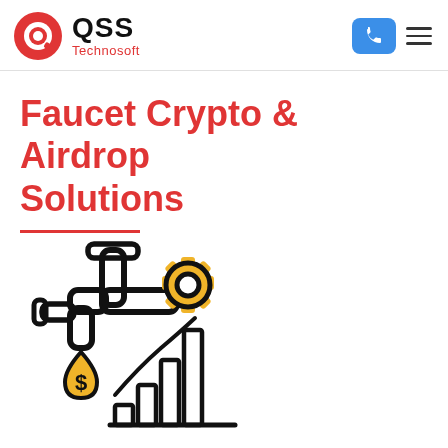QSS Technosoft
Faucet Crypto & Airdrop Solutions
[Figure (illustration): Icon illustration of a faucet dripping a dollar-sign water drop, with a golden gear and a bar chart growing upward, representing crypto faucet and airdrop solutions.]